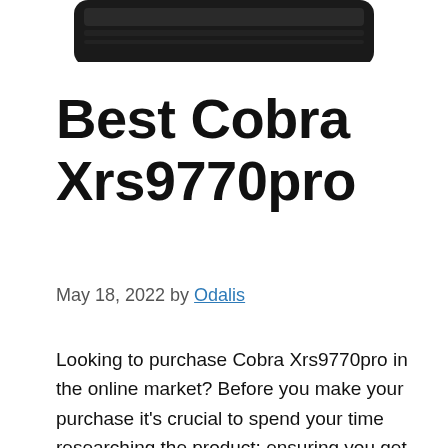[Figure (photo): Partial top view of a dark-colored electronic device (radar detector or similar) cropped at the top of the page]
Best Cobra Xrs9770pro
May 18, 2022 by Odalis
Looking to purchase Cobra Xrs9770pro in the online market? Before you make your purchase it's crucial to spend your time researching the product; ensuring you get the best Cobra Xrs9770pro for your money. It can be daunting figuring out where to start